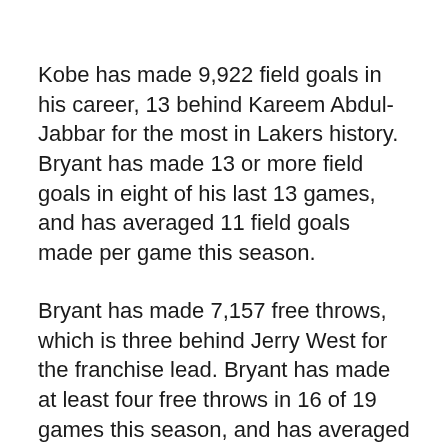Kobe has made 9,922 field goals in his career, 13 behind Kareem Abdul-Jabbar for the most in Lakers history. Bryant has made 13 or more field goals in eight of his last 13 games, and has averaged 11 field goals made per game this season.
Bryant has made 7,157 free throws, which is three behind Jerry West for the franchise lead. Bryant has made at least four free throws in 16 of 19 games this season, and has averaged 6.9 free throws per game.
Kobe already holds Lakers franchise records for seasons played (16), points (28,441), games (1,122), minutes (40,871), field goal attempts (21,833), three-assist field goal records (1,143) and attempted (4,007).